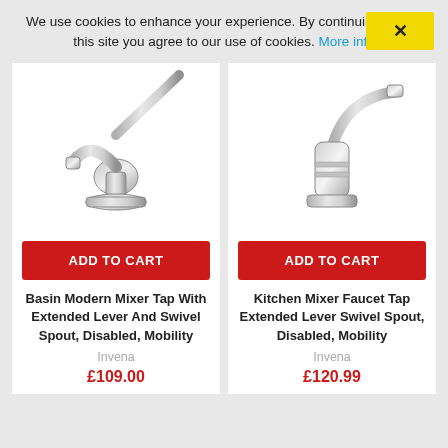We use cookies to enhance your experience. By continuing to visit this site you agree to our use of cookies. More info
[Figure (photo): Basin Modern Mixer Tap with extended lever and swivel spout, chrome finish, single hole basin tap]
ADD TO CART
Basin Modern Mixer Tap With Extended Lever And Swivel Spout, Disabled, Mobility
Invena
£109.00
[Figure (photo): Kitchen Mixer Faucet Tap with extended lever and swivel spout, chrome finish, single hole kitchen tap]
ADD TO CART
Kitchen Mixer Faucet Tap Extended Lever Swivel Spout, Disabled, Mobility
Invena
£120.99